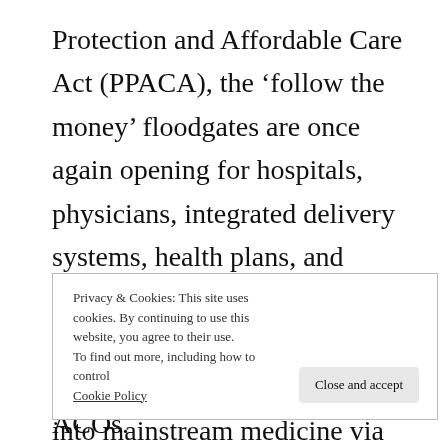Protection and Affordable Care Act (PPACA), the ‘follow the money’ floodgates are once again opening for hospitals, physicians, integrated delivery systems, health plans, and consultants. This time, instead of migrating ‘HMO lite’ (neither staff nor group model) platforms into mainstream medicine via IPAs, or MeSH model JV’s, we’re now talking about
Privacy & Cookies: This site uses cookies. By continuing to use this website, you agree to their use. To find out more, including how to control cookies, see here: Cookie Policy
ACOs.